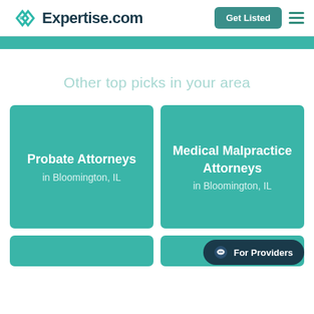Expertise.com
Get Listed
Other top picks in your area
Probate Attorneys in Bloomington, IL
Medical Malpractice Attorneys in Bloomington, IL
For Providers